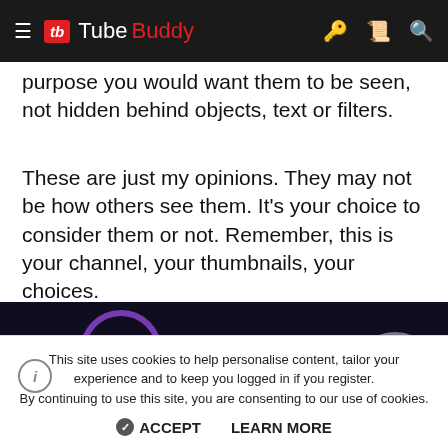TubeBuddy
purpose you would want them to be seen, not hidden behind objects, text or filters.
These are just my opinions. They may not be how others see them. It's your choice to consider them or not. Remember, this is your channel, your thumbnails, your choices.
[Figure (screenshot): Dark background image showing partial text and purple neon glowing circles with text reading 'ication Di' on the right side]
This site uses cookies to help personalise content, tailor your experience and to keep you logged in if you register. By continuing to use this site, you are consenting to our use of cookies.
ACCEPT  LEARN MORE